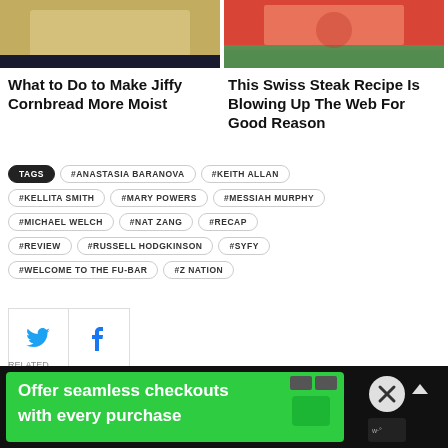[Figure (photo): Food photo - cornbread dish]
[Figure (photo): Food photo - Swiss steak dish with herbs]
What to Do to Make Jiffy Cornbread More Moist
This Swiss Steak Recipe Is Blowing Up The Web For Good Reason
TAGS #ANASTASIA BARANOVA #KEITH ALLAN #KELLITA SMITH #MARY POWERS #MESSIAH MURPHY #MICHAEL WELCH #NAT ZANG #RECAP #REVIEW #RUSSELL HODGKINSON #SYFY #WELCOME TO THE FU-BAR #Z NATION
[Figure (other): Twitter bird icon social share button]
[Figure (other): Facebook f icon social share button]
[Figure (other): Advertisement banner: Offer seamless checkouts with every purchase]